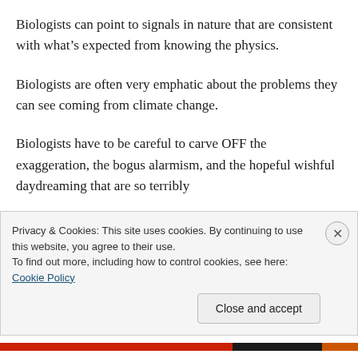Biologists can point to signals in nature that are consistent with what’s expected from knowing the physics.
Biologists are often very emphatic about the problems they can see coming from climate change.
Biologists have to be careful to carve OFF the exaggeration, the bogus alarmism, and the hopeful wishful daydreaming that are so terribly
Privacy & Cookies: This site uses cookies. By continuing to use this website, you agree to their use.
To find out more, including how to control cookies, see here: Cookie Policy
Close and accept